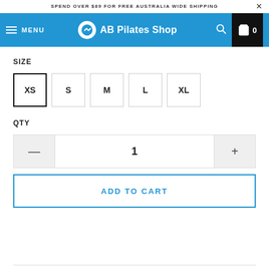SPEND OVER $89 FOR FREE AUSTRALIA WIDE SHIPPING
[Figure (logo): AB Pilates Shop navigation bar with hamburger menu, logo, search icon, and cart icon showing 0 items]
SIZE
XS  S  M  L  XL — size selection buttons, XS selected
QTY
Quantity control: minus button, value 1, plus button
ADD TO CART